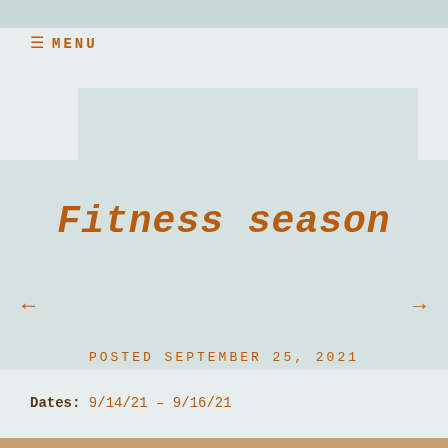≡ MENU
Fitness season
POSTED SEPTEMBER 25, 2021
Dates: 9/14/21 – 9/16/21